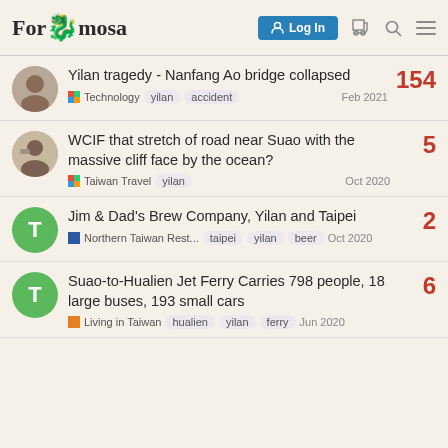Forumosa — Log In
Yilan tragedy - Nanfang Ao bridge collapsed
Technology · yilan · accident · Feb 2021 · 154 replies
WCIF that stretch of road near Suao with the massive cliff face by the ocean?
Taiwan Travel · yilan · Oct 2020 · 5 replies
Jim & Dad's Brew Company, Yilan and Taipei
Northern Taiwan Rest... · taipei · yilan · beer · Oct 2020 · 2 replies
Suao-to-Hualien Jet Ferry Carries 798 people, 18 large buses, 193 small cars
Living in Taiwan · hualien · yilan · ferry · Jun 2020 · 6 replies